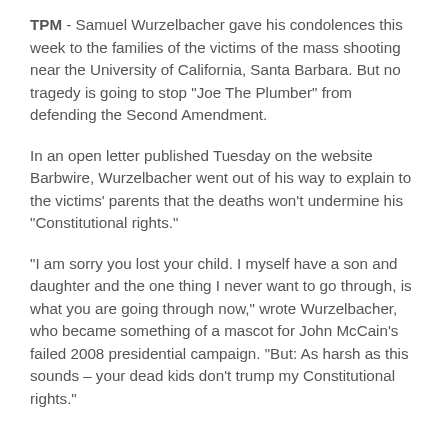TPM - Samuel Wurzelbacher gave his condolences this week to the families of the victims of the mass shooting near the University of California, Santa Barbara. But no tragedy is going to stop "Joe The Plumber" from defending the Second Amendment.
In an open letter published Tuesday on the website Barbwire, Wurzelbacher went out of his way to explain to the victims' parents that the deaths won't undermine his "Constitutional rights."
"I am sorry you lost your child. I myself have a son and daughter and the one thing I never want to go through, is what you are going through now," wrote Wurzelbacher, who became something of a mascot for John McCain's failed 2008 presidential campaign. "But: As harsh as this sounds – your dead kids don't trump my Constitutional rights."